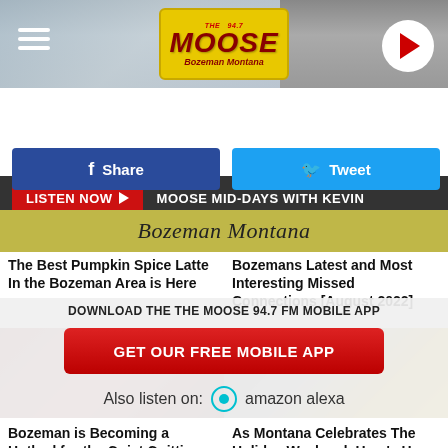[Figure (screenshot): Radio station header with hamburger menu, The Moose 94.7 FM logo on yellow background, and play button]
LISTEN NOW ► MOOSE MID-DAYS WITH KEVIN
f Share
Tweet
Bozeman Montana
The Best Pumpkin Spice Latte In the Bozeman Area is Here
Bozemans Latest and Most Interesting Missed Connections [August 2022]
DOWNLOAD THE THE MOOSE 94.7 FM MOBILE APP
GET OUR FREE MOBILE APP
Also listen on:  amazon alexa
Bozeman is Becoming a Hotbed for the Quiet Quitting Revolutio...
As Montana Celebrates The Holiday Weekend, Here's How Whit...